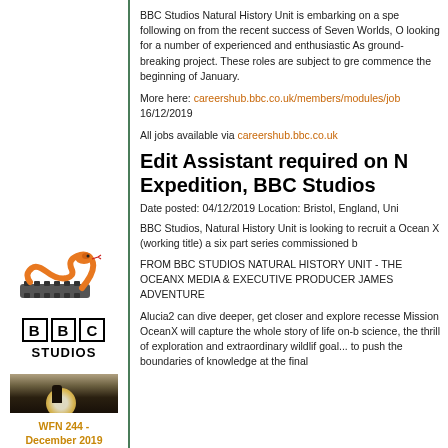BBC Studios Natural History Unit is embarking on a spe following on from the recent success of Seven World, looking for a number of experienced and enthusiastic As ground-breaking project. These roles are subject to gre commence the beginning of January.
More here: careershub.bbc.co.uk/members/modules/job 16/12/2019
All jobs available via careershub.bbc.co.uk
[Figure (logo): Snake and film reel logo]
[Figure (logo): BBC Studios logo with BBC in boxes and STUDIOS text]
[Figure (photo): Black and white photo of a silhouette figure sitting in misty/foggy landscape with glowing sun]
WFN 244 - December 2019
Edit Assistant required on N Expedition, BBC Studios
Date posted: 04/12/2019 Location: Bristol, England, Uni
BBC Studios, Natural History Unit is looking to recruit a Ocean X (working title) a six part series commissioned b
FROM BBC STUDIOS NATURAL HISTORY UNIT - THE OCEANX MEDIA & EXECUTIVE PRODUCER JAMES ADVENTURE
Alucia2 can dive deeper, get closer and explore recesse Mission OceanX will capture the whole story of life on-b science, the thrill of exploration and extraordinary wildlif goal... to push the boundaries of knowledge at the final